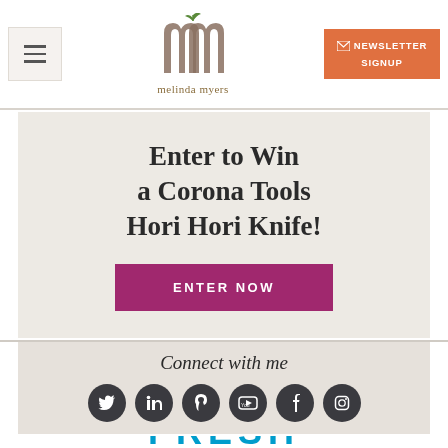[Figure (logo): Melinda Myers logo with stylized m letters and a plant, text 'melinda myers' below]
NEWSLETTER SIGNUP
Enter to Win a Corona Tools Hori Hori Knife!
ENTER NOW
Connect with me
[Figure (infographic): Social media icons: Twitter, LinkedIn, Pinterest, YouTube, Facebook, Instagram]
[Figure (other): Partial view of FRESH banner in bright blue text]